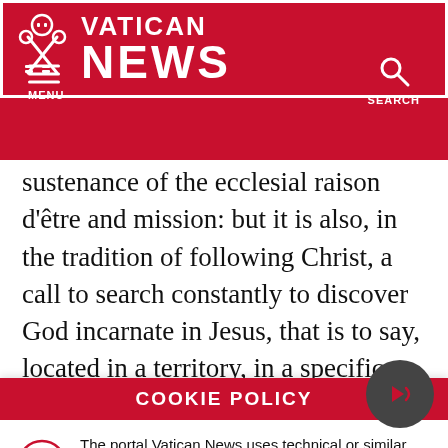MENU | VATICAN NEWS | SEARCH
sustenance of the ecclesial raison d'être and mission: but it is also, in the tradition of following Christ, a call to search constantly to discover God incarnate in Jesus, that is to say, located in a territory, in a specific culture and context, and which goes on becoming incarnate in the changing
COOKIE POLICY
The portal Vatican News uses technical or similar cookies to make navigation easier and guarantee the use of the services. Furthermore, technical and analysis cookies from third parties may be used. If you want to know more click here. By closing this banner you consent to the use of cookies.
I AGREE